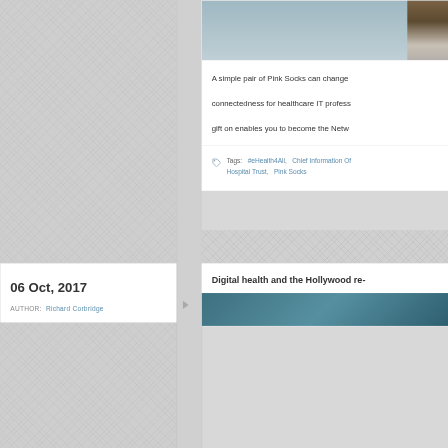[Figure (photo): Partial photo showing brown shoes/feet on a grey surface, top portion only visible]
A simple pair of Pink Socks can change connectedness for healthcare IT profess... gift on enables you to become the Netw...
Tags:  #eHealth4All,  Chief Information Of...  Hospital Trust,  Pink Socks
06 Oct, 2017
AUTHOR:  Richard Corbridge
Digital health and the Hollywood re-...
[Figure (photo): Partial teal/blue background photo at bottom of page]